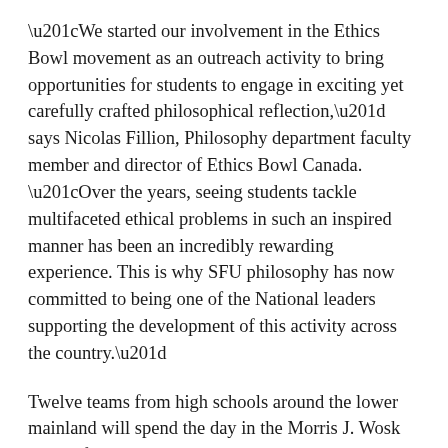“We started our involvement in the Ethics Bowl movement as an outreach activity to bring opportunities for students to engage in exciting yet carefully crafted philosophical reflection,” says Nicolas Fillion, Philosophy department faculty member and director of Ethics Bowl Canada. “Over the years, seeing students tackle multifaceted ethical problems in such an inspired manner has been an incredibly rewarding experience. This is why SFU philosophy has now committed to being one of the National leaders supporting the development of this activity across the country.”
Twelve teams from high schools around the lower mainland will spend the day in the Morris J. Wosk Centre for Dialogue building discussing current events and governance that shape their neighbourhoods, communities and local businesses.
During the day, students will discuss 10 case studies, and winners will be selected by a panel of three judges that score the teams on their ability to answer questions, demonstrate awareness of